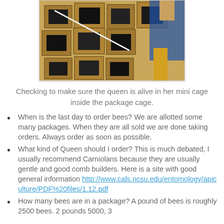[Figure (photo): Photo of wooden bee package cages stacked together, with a person visible in the background wearing blue and yellow clothing.]
Checking to make sure the queen is alive in her mini cage inside the package cage.
When is the last day to order bees? We are allotted some many packages. When they are all sold we are done taking orders. Always order as soon as possible.
What kind of Queen should I order? This is much debated, I usually recommend Carniolans because they are usually gentle and good comb builders. Here is a site with good general information http://www.cals.ncsu.edu/entomology/apiculture/PDF%20files/1.12.pdf
How many bees are in a package? A pound of bees is roughly 2500 bees. 2 pounds 5000, 3